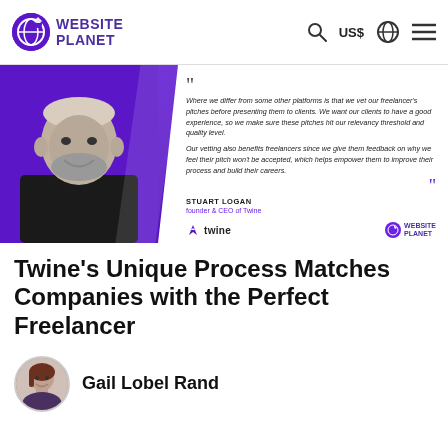WEBSITE PLANET | US$
[Figure (photo): Hero banner with quote from Stuart Logan, founder & CEO of Twine. Shows his photo on the left (black and white), a quote about vetting freelancer pitches, and logos for Twine and Website Planet.]
Twine's Unique Process Matches Companies with the Perfect Freelancer
Gail Lobel Rand